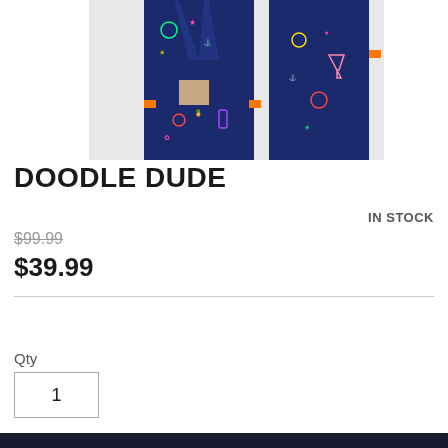[Figure (photo): Two people wearing navy blue suits with colorful neon doodle patterns (Doodle Dude suit). The suit features neon-colored illustrations of various fun icons including pineapples, anchors, suns, cocktails, flowers, and other doodles on a dark navy background with orange cuff accents.]
DOODLE DUDE
IN STOCK
$99.99
$39.99
Qty
1